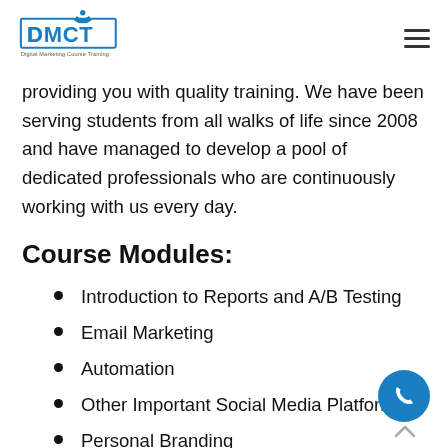[Figure (logo): DMCT Digital Marketing Course Training logo with blue text and figure icon]
providing you with quality training. We have been serving students from all walks of life since 2008 and have managed to develop a pool of dedicated professionals who are continuously working with us every day.
Course Modules:
Introduction to Reports and A/B Testing
Email Marketing
Automation
Other Important Social Media Platforms
Personal Branding